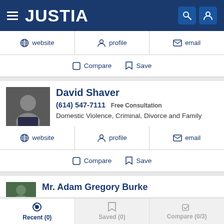JUSTIA
website  profile  email
Compare  Save
David Shaver
(614) 547-7111  Free Consultation
Domestic Violence, Criminal, Divorce and Family
website  profile  email
Compare  Save
Mr. Adam Gregory Burke
Recent (0)  Saved (0)  Compare (0/3)